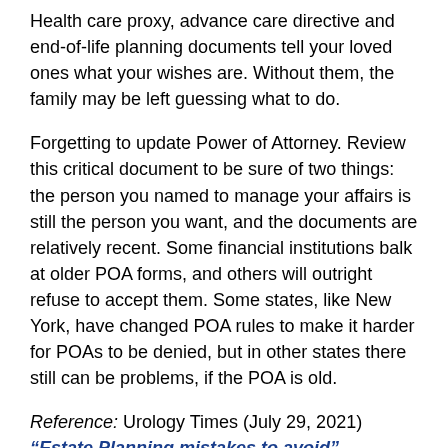Health care proxy, advance care directive and end-of-life planning documents tell your loved ones what your wishes are. Without them, the family may be left guessing what to do.
Forgetting to update Power of Attorney. Review this critical document to be sure of two things: the person you named to manage your affairs is still the person you want, and the documents are relatively recent. Some financial institutions balk at older POA forms, and others will outright refuse to accept them. Some states, like New York, have changed POA rules to make it harder for POAs to be denied, but in other states there still can be problems, if the POA is old.
Reference: Urology Times (July 29, 2021) "Estate Planning mistakes to avoid"